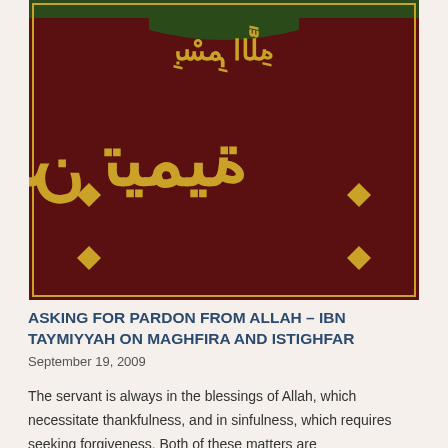[Figure (photo): Close-up photograph of a dark maroon/burgundy decorative Islamic sign with gold Arabic calligraphy text reading 'Ibn Taymiyyah', with gold diamond ornamental shapes, against a dark background with green accents at the top.]
ASKING FOR PARDON FROM ALLAH – IBN TAYMIYYAH ON MAGHFIRA AND ISTIGHFAR
September 19, 2009
The servant is always in the blessings of Allah, which necessitate thankfulness, and in sinfulness, which requires seeking forgiveness. Both of these matters are